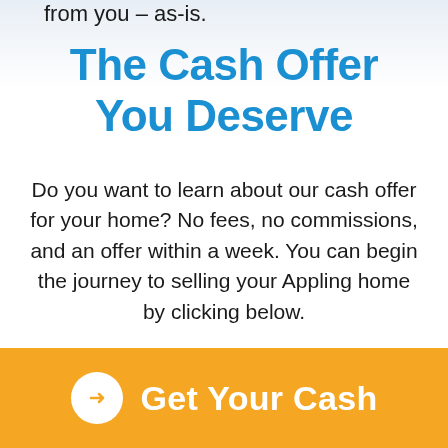from you – as-is.
The Cash Offer You Deserve
Do you want to learn about our cash offer for your home? No fees, no commissions, and an offer within a week. You can begin the journey to selling your Appling home by clicking below.
Get Your Cash